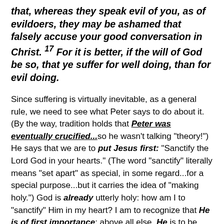that, whereas they speak evil of you, as of evildoers, they may be ashamed that falsely accuse your good conversation in Christ. 17 For it is better, if the will of God be so, that ye suffer for well doing, than for evil doing.
Since suffering is virtually inevitable, as a general rule, we need to see what Peter says to do about it. (By the way, tradition holds that Peter was eventually crucified...so he wasn't talking "theory!") He says that we are to put Jesus first: "Sanctify the Lord God in your hearts." (The word "sanctify" literally means "set apart" as special, in some regard...for a special purpose...but it carries the idea of "making holy.") God is already utterly holy: how am I to "sanctify" Him in my heart? I am to recognize that He is of first importance: above all else, He is to be honored. And the result is that I will deliberately prepare myself to give honest, clear, humble, and loving